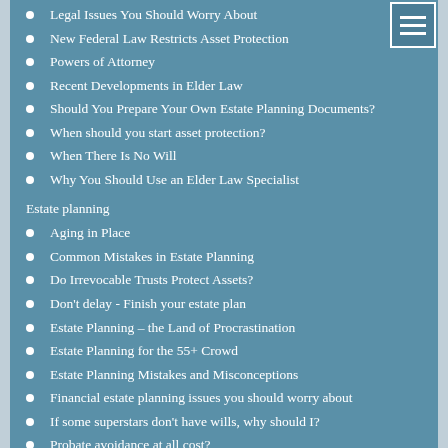Legal Issues You Should Worry About
New Federal Law Restricts Asset Protection
Powers of Attorney
Recent Developments in Elder Law
Should You Prepare Your Own Estate Planning Documents?
When should you start asset protection?
When There Is No Will
Why You Should Use an Elder Law Specialist
Estate planning
Aging in Place
Common Mistakes in Estate Planning
Do Irrevocable Trusts Protect Assets?
Don't delay - Finish your estate plan
Estate Planning – the Land of Procrastination
Estate Planning for the 55+ Crowd
Estate Planning Mistakes and Misconceptions
Financial estate planning issues you should worry about
If some superstars don't have wills, why should I?
Probate avoidance at all cost?